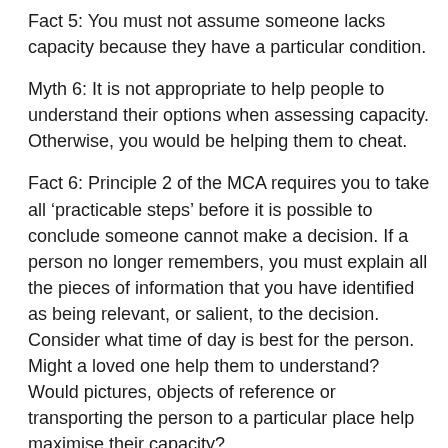Fact 5: You must not assume someone lacks capacity because they have a particular condition.
Myth 6: It is not appropriate to help people to understand their options when assessing capacity. Otherwise, you would be helping them to cheat.
Fact 6: Principle 2 of the MCA requires you to take all ‘practicable steps’ before it is possible to conclude someone cannot make a decision. If a person no longer remembers, you must explain all the pieces of information that you have identified as being relevant, or salient, to the decision. Consider what time of day is best for the person. Might a loved one help them to understand? Would pictures, objects of reference or transporting the person to a particular place help maximise their capacity?